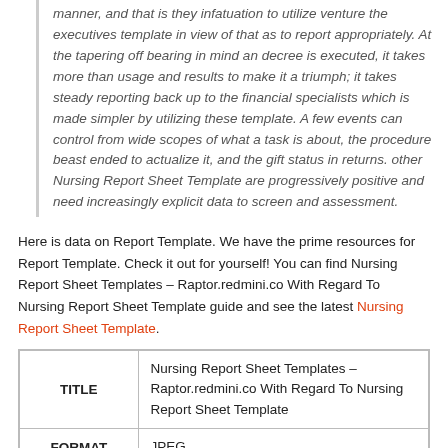manner, and that is they infatuation to utilize venture the executives template in view of that as to report appropriately. At the tapering off bearing in mind an decree is executed, it takes more than usage and results to make it a triumph; it takes steady reporting back up to the financial specialists which is made simpler by utilizing these template. A few events can control from wide scopes of what a task is about, the procedure beast ended to actualize it, and the gift status in returns. other Nursing Report Sheet Template are progressively positive and need increasingly explicit data to screen and assessment.
Here is data on Report Template. We have the prime resources for Report Template. Check it out for yourself! You can find Nursing Report Sheet Templates – Raptor.redmini.co With Regard To Nursing Report Sheet Template guide and see the latest Nursing Report Sheet Template.
| TITLE |  |
| --- | --- |
| TITLE | Nursing Report Sheet Templates – Raptor.redmini.co With Regard To Nursing Report Sheet Template |
| FORMAT | JPEG |